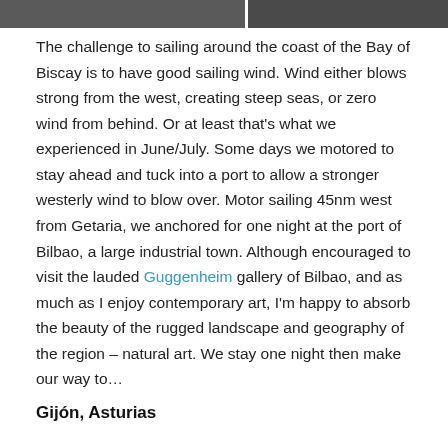[Figure (photo): Top strip showing partial photos, dark background with two image panels side by side]
The challenge to sailing around the coast of the Bay of Biscay is to have good sailing wind. Wind either blows strong from the west, creating steep seas, or zero wind from behind. Or at least that's what we experienced in June/July. Some days we motored to stay ahead and tuck into a port to allow a stronger westerly wind to blow over. Motor sailing 45nm west from Getaria, we anchored for one night at the port of Bilbao, a large industrial town. Although encouraged to visit the lauded Guggenheim gallery of Bilbao, and as much as I enjoy contemporary art, I'm happy to absorb the beauty of the rugged landscape and geography of the region – natural art. We stay one night then make our way to…
Gijón, Asturias